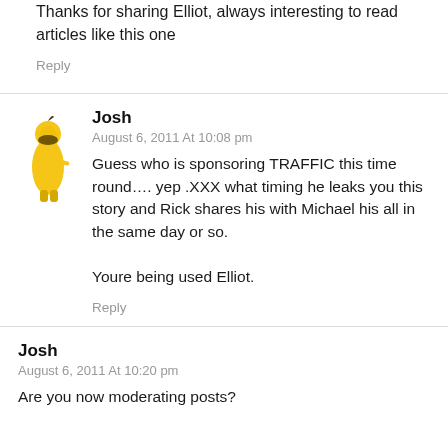Thanks for sharing Elliot, always interesting to read articles like this one
Reply
Josh
August 6, 2011 At 10:08 pm
Guess who is sponsoring TRAFFIC this time round…. yep .XXX what timing he leaks you this story and Rick shares his with Michael his all in the same day or so.

Youre being used Elliot.
Reply
Josh
August 6, 2011 At 10:20 pm
Are you now moderating posts?